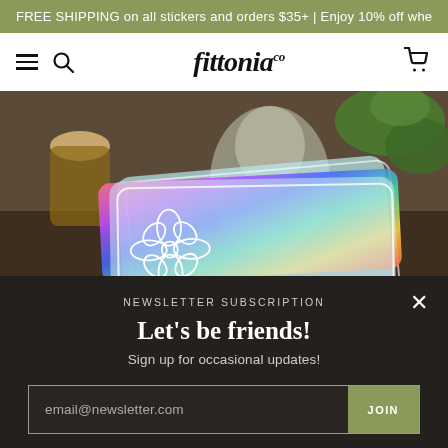FREE SHIPPING on all stickers and orders $35+ | Enjoy 10% off whe
[Figure (logo): Fittonia Co. brand logo with hamburger menu, search icon, and cart icon in navigation bar]
[Figure (photo): Product photo showing holographic rainbow stickers, a cork-stoppered bottle, and a buddha/ceramic sculpture with green leaves in the background]
NEWSLETTER SUBSCRIPTION
Let's be friends!
Sign up for occasional updates!
email@newsletter.com
JOIN